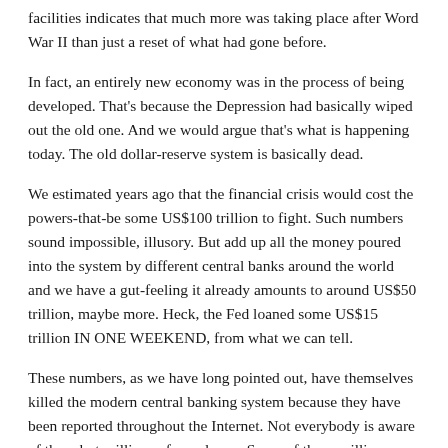facilities indicates that much more was taking place after Word War II than just a reset of what had gone before.
In fact, an entirely new economy was in the process of being developed. That's because the Depression had basically wiped out the old one. And we would argue that's what is happening today. The old dollar-reserve system is basically dead.
We estimated years ago that the financial crisis would cost the powers-that-be some US$100 trillion to fight. Such numbers sound impossible, illusory. But add up all the money poured into the system by different central banks around the world and we have a gut-feeling it already amounts to around US$50 trillion, maybe more. Heck, the Fed loaned some US$15 trillion IN ONE WEEKEND, from what we can tell.
These numbers, as we have long pointed out, have themselves killed the modern central banking system because they have been reported throughout the Internet. Not everybody is aware of them but millions of people are. Some of these millions, perhaps